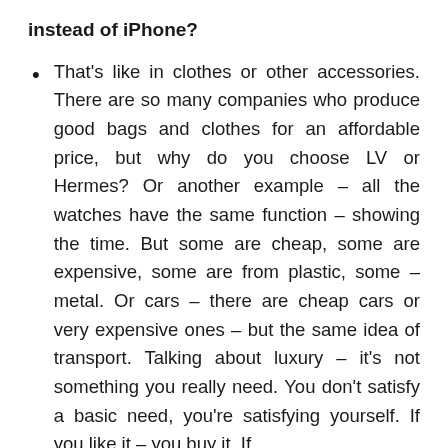instead of iPhone?
That's like in clothes or other accessories. There are so many companies who produce good bags and clothes for an affordable price, but why do you choose LV or Hermes? Or another example – all the watches have the same function – showing the time. But some are cheap, some are expensive, some are from plastic, some – metal. Or cars – there are cheap cars or very expensive ones – but the same idea of transport. Talking about luxury – it's not something you really need. You don't satisfy a basic need, you're satisfying yourself. If you like it – you buy it. If